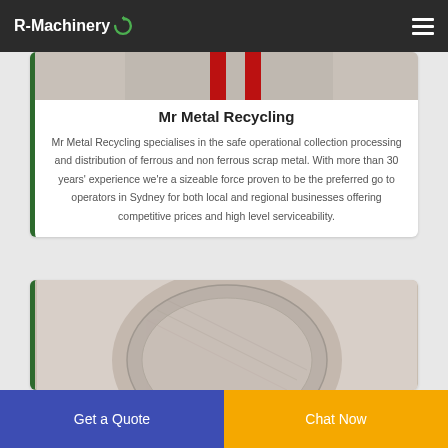R-Machinery
[Figure (photo): Partial image of metal recycling machinery with red stripes visible at top of card]
Mr Metal Recycling
Mr Metal Recycling specialises in the safe operational collection processing and distribution of ferrous and non ferrous scrap metal. With more than 30 years' experience we're a sizeable force proven to be the preferred go to operators in Sydney for both local and regional businesses offering competitive prices and high level serviceability.
[Figure (photo): Close-up photo of a circular metal drum or bowl surface]
Get a Quote
Chat Now